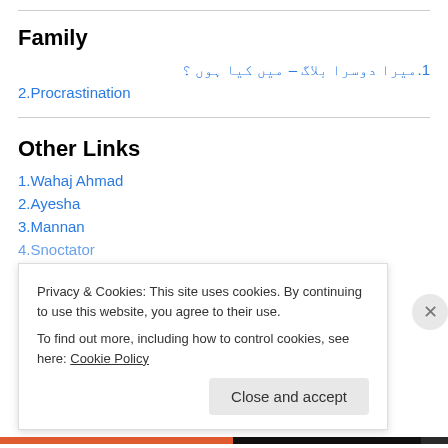Family
1.میرا دوسرا بلاگ – میں کیا ہوں ؟
2.Procrastination
Other Links
1.Wahaj Ahmad
2.Ayesha
3.Mannan
4.Snoctator
Privacy & Cookies: This site uses cookies. By continuing to use this website, you agree to their use.
To find out more, including how to control cookies, see here: Cookie Policy